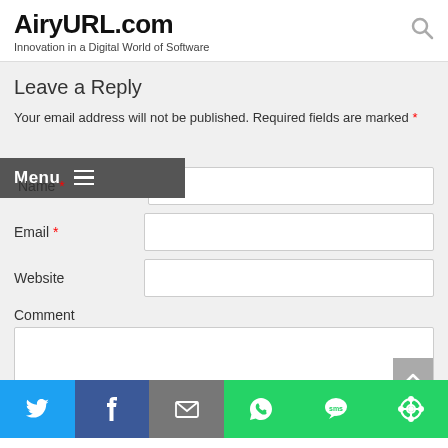AiryURL.com
Innovation in a Digital World of Software
Leave a Reply
Your email address will not be published. Required fields are marked *
[Figure (screenshot): Menu overlay button with hamburger icon]
Name *
Email *
Website
Comment
[Figure (infographic): Social share bar with Twitter, Facebook, Email, WhatsApp, SMS, and share icons]